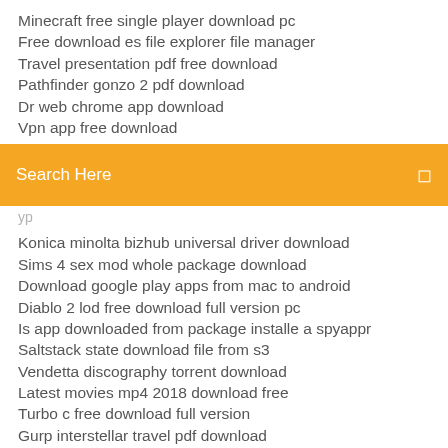Minecraft free single player download pc
Free download es file explorer file manager
Travel presentation pdf free download
Pathfinder gonzo 2 pdf download
Dr web chrome app download
Vpn app free download
[Figure (screenshot): Orange search bar with text 'Search Here' and a search icon on the right]
Konica minolta bizhub universal driver download
Sims 4 sex mod whole package download
Download google play apps from mac to android
Diablo 2 lod free download full version pc
Is app downloaded from package installe a spyappr
Saltstack state download file from s3
Vendetta discography torrent download
Latest movies mp4 2018 download free
Turbo c free download full version
Gurp interstellar travel pdf download